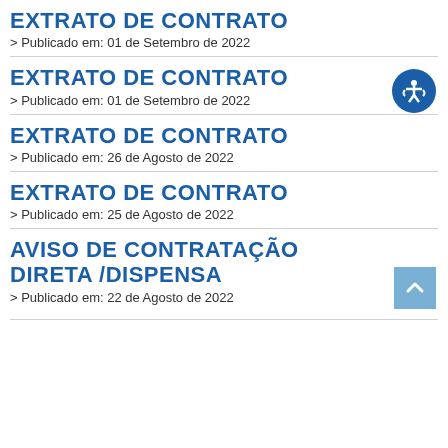EXTRATO DE CONTRATO
> Publicado em: 01 de Setembro de 2022
EXTRATO DE CONTRATO
> Publicado em: 01 de Setembro de 2022
EXTRATO DE CONTRATO
> Publicado em: 26 de Agosto de 2022
EXTRATO DE CONTRATO
> Publicado em: 25 de Agosto de 2022
AVISO DE CONTRATAÇÃO DIRETA /DISPENSA
> Publicado em: 22 de Agosto de 2022